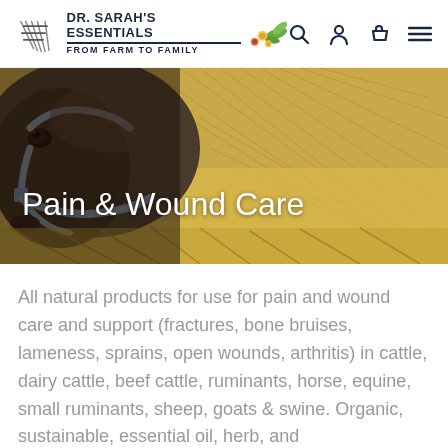DR. SARAH'S ESSENTIALS | FROM FARM TO FAMILY
[Figure (photo): Close-up photo of a horse wearing a halter, lying on hay/straw. Hero banner image for the Pain & Wound Care category page.]
Pain & Wound Care
All natural products for use for pain and wound care and support (fractures, bone bruises, lameness, sprains, open wounds, arthritis) in cattle, dairy cattle, beef cattle, ruminants, horse, equine, small ruminants, sheep, goats & swine. Organic, sustainable, essential oil, herb, and